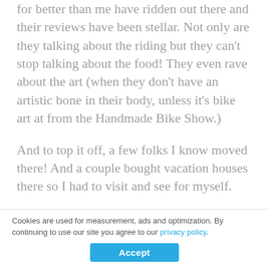for better than me have ridden out there and their reviews have been stellar. Not only are they talking about the riding but they can't stop talking about the food! They even rave about the art (when they don't have an artistic bone in their body, unless it's bike art at from the Handmade Bike Show.)
And to top it off, a few folks I know moved there! And a couple bought vacation houses there so I had to visit and see for myself.
So I paid a visit on November of 2019 [close] ed by the Bike Bentonville organization to experience what the city had to offer a
Cookies are used for measurement, ads and optimization. By continuing to use our site you agree to our privacy policy.